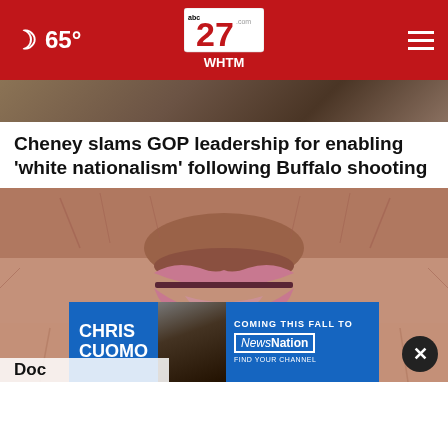65° | abc27 WHTM
[Figure (screenshot): Partial image at top of page behind header]
Cheney slams GOP leadership for enabling 'white nationalism' following Buffalo shooting
[Figure (photo): Close-up macro photograph of aged human lips with wrinkled skin]
[Figure (photo): Chris Cuomo advertisement: COMING THIS FALL TO NEWSNATION - FIND YOUR CHANNEL]
Doc